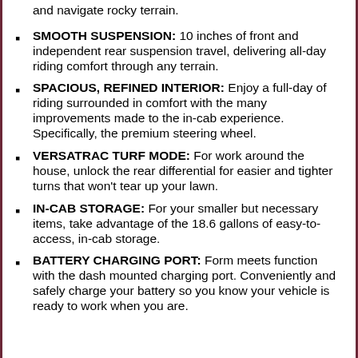and navigate rocky terrain.
SMOOTH SUSPENSION: 10 inches of front and independent rear suspension travel, delivering all-day riding comfort through any terrain.
SPACIOUS, REFINED INTERIOR: Enjoy a full-day of riding surrounded in comfort with the many improvements made to the in-cab experience. Specifically, the premium steering wheel.
VERSATRAC TURF MODE: For work around the house, unlock the rear differential for easier and tighter turns that won't tear up your lawn.
IN-CAB STORAGE: For your smaller but necessary items, take advantage of the 18.6 gallons of easy-to-access, in-cab storage.
BATTERY CHARGING PORT: Form meets function with the dash mounted charging port. Conveniently and safely charge your battery so you know your vehicle is ready to work when you are.